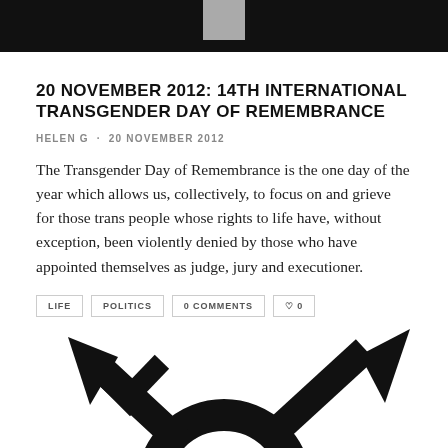[Figure (photo): Dark header image with a gray square element centered at the top]
20 NOVEMBER 2012: 14TH INTERNATIONAL TRANSGENDER DAY OF REMEMBRANCE
HELEN G · 20 NOVEMBER 2012
The Transgender Day of Remembrance is the one day of the year which allows us, collectively, to focus on and grieve for those trans people whose rights to life have, without exception, been violently denied by those who have appointed themselves as judge, jury and executioner.
LIFE   POLITICS   0 COMMENTS   ♡ 0
[Figure (illustration): Transgender symbol (large black gender/transgender symbol with two arrows and a cross) partially visible at the bottom of the page]